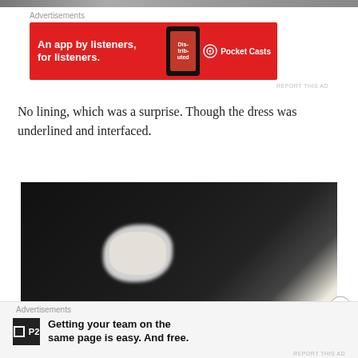[Figure (photo): Partial top edge of a photograph, cropped]
Advertisements
[Figure (photo): Pocket Casts advertisement banner on red background: 'An app by listeners, for listeners.' with podcast app phone graphic and Pocket Casts logo]
No lining, which was a surprise. Though the dress was underlined and interfaced.
[Figure (photo): Dark photograph showing figures in black, with white/light colored fabric visible in center, and a white surface at bottom]
Advertisements
[Figure (photo): P2 advertisement: 'Getting your team on the same page is easy. And free.' with P2 logo]